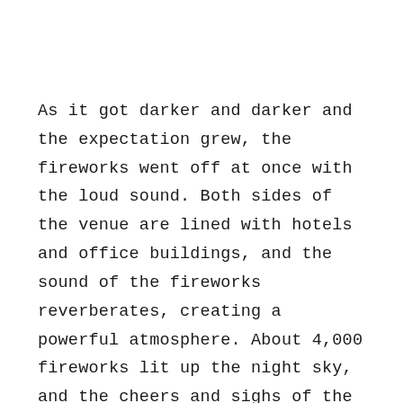As it got darker and darker and the expectation grew, the fireworks went off at once with the loud sound. Both sides of the venue are lined with hotels and office buildings, and the sound of the fireworks reverberates, creating a powerful atmosphere. About 4,000 fireworks lit up the night sky, and the cheers and sighs of the spectators echoed in the air.